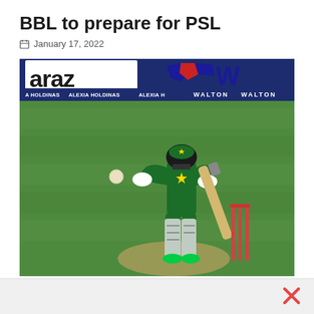BBL to prepare for PSL
January 17, 2022
[Figure (photo): A Pakistan cricket batsman in green kit playing a shot during a cricket match, with advertising boards showing 'araz', a logo, and 'WALTON' in the background, with wickets visible on the right side of the frame.]